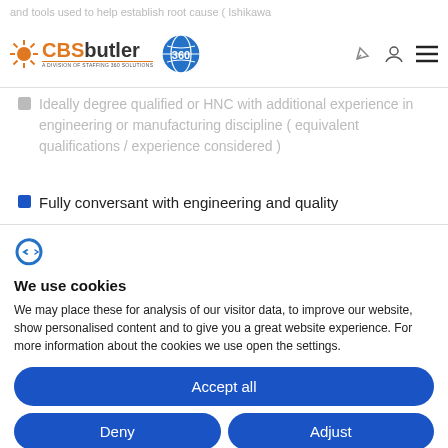and tools used to help establish root cause ( Ishikawa
[Figure (logo): CBSbutler 360 logo - a division of Staffing 360 Solutions, with sun icon and globe icon]
Ideally degree qualified or HNC with additional experience in engineering or manufacturing discipline ( equivalent qualifications / experience considered )
Fully conversant with engineering and quality
[Figure (logo): Cookiebot logo - stylized C with euro-style symbol]
We use cookies
We may place these for analysis of our visitor data, to improve our website, show personalised content and to give you a great website experience. For more information about the cookies we use open the settings.
Accept all
Deny
Adjust